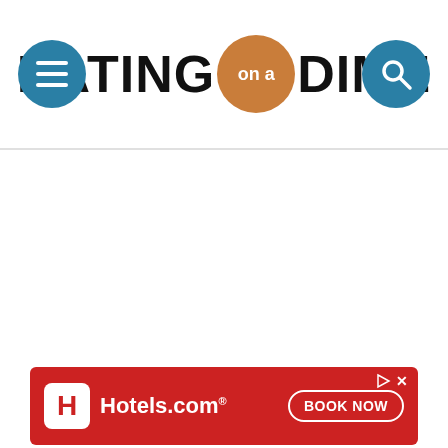[Figure (logo): Eating on a Dime website header logo with hamburger menu button on left and search button on right. Bold black uppercase text 'EATING' followed by an orange circle with 'on a' in script text, then 'DIME' in bold black uppercase. Teal blue circular buttons on each side.]
[Figure (screenshot): White empty content area below the header navigation bar.]
[Figure (other): Hotels.com advertisement banner with red background. White H logo box on left, 'Hotels.com' text in white, 'BOOK NOW' button outlined in white on right.]